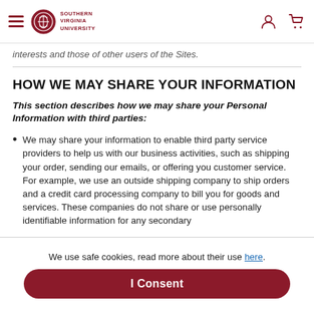Southern Virginia University navigation header
interests and those of other users of the Sites.
HOW WE MAY SHARE YOUR INFORMATION
This section describes how we may share your Personal Information with third parties:
We may share your information to enable third party service providers to help us with our business activities, such as shipping your order, sending our emails, or offering you customer service. For example, we use an outside shipping company to ship orders and a credit card processing company to bill you for goods and services. These companies do not share or use personally identifiable information for any secondary
We use safe cookies, read more about their use here.
I Consent